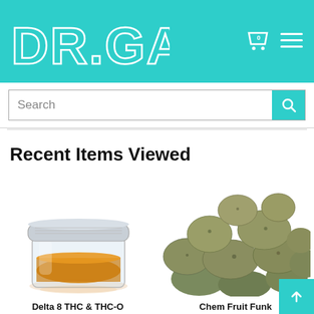DR.GANJA
Search
Recent Items Viewed
[Figure (photo): A small glass jar with a grey lid containing golden/amber liquid (Delta 8 THC & THC-O product)]
[Figure (photo): A pile of green/grey cannabis flower buds (Chem Fruit Funk)]
Delta 8 THC & THC-O
Chem Fruit Funk